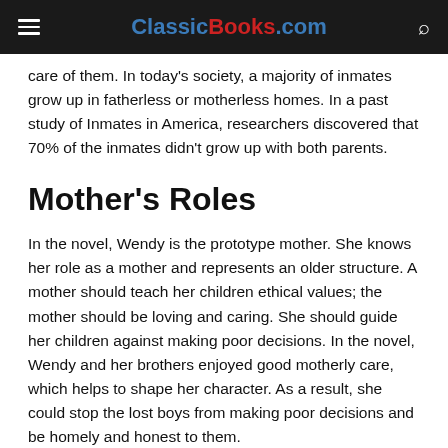ClassicBooks.com
care of them. In today's society, a majority of inmates grow up in fatherless or motherless homes. In a past study of Inmates in America, researchers discovered that 70% of the inmates didn't grow up with both parents.
Mother's Roles
In the novel, Wendy is the prototype mother. She knows her role as a mother and represents an older structure. A mother should teach her children ethical values; the mother should be loving and caring. She should guide her children against making poor decisions. In the novel, Wendy and her brothers enjoyed good motherly care, which helps to shape her character. As a result, she could stop the lost boys from making poor decisions and be homely and honest to them.